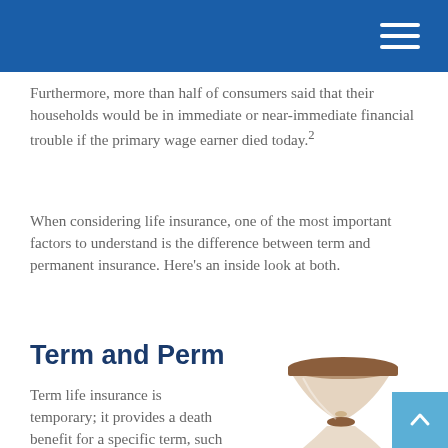Furthermore, more than half of consumers said that their households would be in immediate or near-immediate financial trouble if the primary wage earner died today.²
When considering life insurance, one of the most important factors to understand is the difference between term and permanent insurance. Here's an inside look at both.
Term and Perm
Term life insurance is temporary; it provides a death benefit for a specific term, such as 10, 20, or 30 years. Unlike
[Figure (photo): An hourglass with a wooden frame and glass bulbs, partially visible, representing time and term life insurance.]